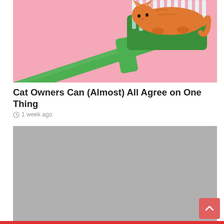[Figure (photo): A tabby cat sitting on a green toothbrush head against a pink background]
Cat Owners Can (Almost) All Agree on One Thing
1 week ago
[Figure (photo): Gray placeholder image for a second article]
[Figure (other): Scroll-to-top button with upward arrow]